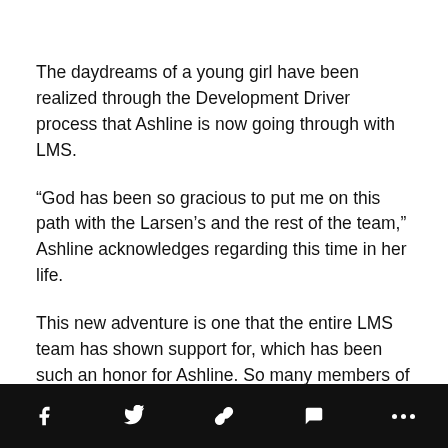The daydreams of a young girl have been realized through the Development Driver process that Ashline is now going through with LMS.
“God has been so gracious to put me on this path with the Larsen’s and the rest of the team,” Ashline acknowledges regarding this time in her life.
This new adventure is one that the entire LMS team has shown support for, which has been such an honor for Ashline. So many members of the #JetFamily are chasing their dreams, and Ashline is no different.
Chris Larsen, Co-Owner and CEO of LMS states that
social share toolbar with icons: Facebook, Twitter, Link, Comment, More